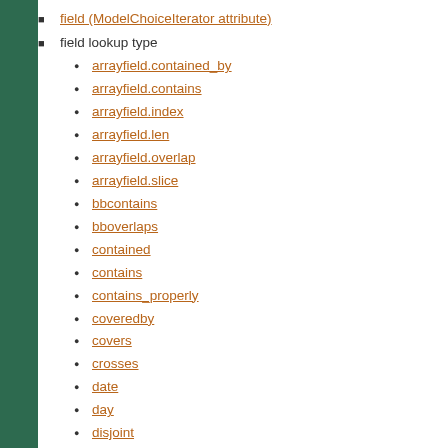field (ModelChoiceIterator attribute)
field lookup type
arrayfield.contained_by
arrayfield.contains
arrayfield.index
arrayfield.len
arrayfield.overlap
arrayfield.slice
bbcontains
bboverlaps
contained
contains
contains_properly
coveredby
covers
crosses
date
day
disjoint
distance_gt